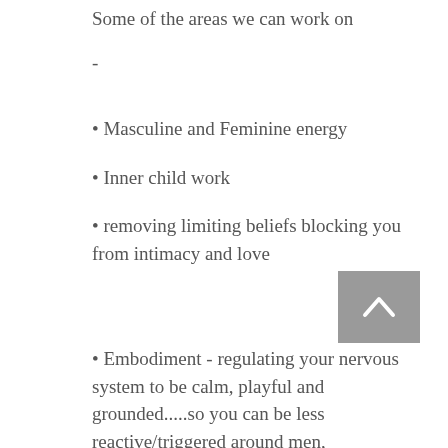Some of the areas we can work on
-
• Masculine and Feminine energy
• Inner child work
• removing limiting beliefs blocking you from intimacy and love
• Embodiment - regulating your nervous system to be calm, playful and grounded.....so you can be less reactive/triggered around men, the masculine and within